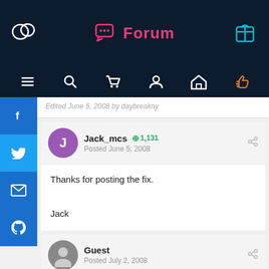Forum
Edited June 5, 2008 by daybreakny
Jack_mcs   1,131
Posted June 5, 2008
Thanks for posting the fix.

Jack
Guest
Posted July 2, 2008